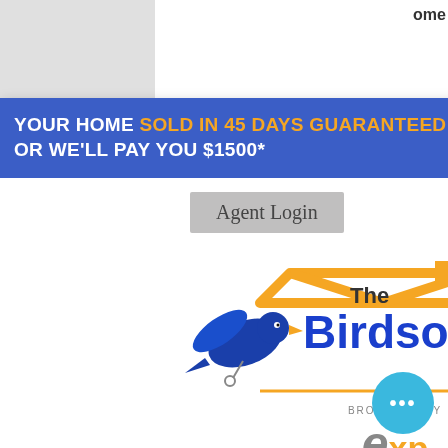ome
[Figure (screenshot): Blue navigation bar with text: YOUR HOME SOLD IN 45 DAYS GUARANTEED OR WE'LL PAY YOU $1500* and a hamburger menu button]
[Figure (logo): Agent Login button in gray]
[Figure (logo): The Birdsong Group logo with blue bird and orange roof, brokered by eXp Realty]
CALL OR TEXT TODAY 504-780-9422
Guaranteed Sale Program
Happy Independence Day
Helping Second Harvest   Holiday vacati...
home   HOME BUYING   Home Buying...
THA
fsbo